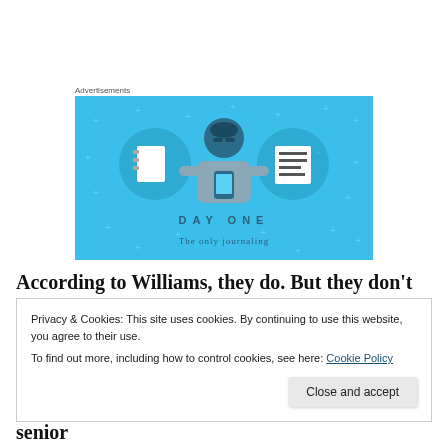Advertisements
[Figure (illustration): Day One journaling app advertisement. Light blue background with star/plus decorations. Center shows an illustrated figure of a person holding a phone, flanked by two circular icons: a blank notebook on the left and a lined list/journal on the right. Text reads 'DAY ONE' in spaced letters and 'The only journaling' at bottom.]
According to Williams, they do. But they don't get too
Privacy & Cookies: This site uses cookies. By continuing to use this website, you agree to their use.
To find out more, including how to control cookies, see here: Cookie Policy
Close and accept
project sponsor or director who must be a very senior